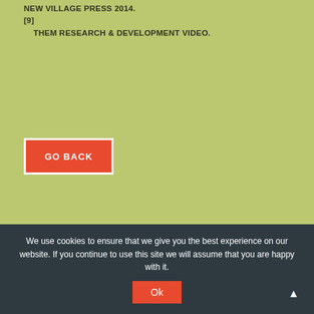NEW VILLAGE PRESS 2014.
[9]
    THEM RESEARCH & DEVELOPMENT VIDEO.
GO BACK
We use cookies to ensure that we give you the best experience on our website. If you continue to use this site we will assume that you are happy with it.
Ok